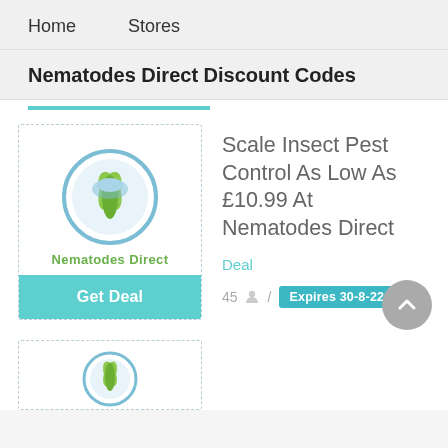Home    Stores
Nematodes Direct Discount Codes
[Figure (logo): Nematodes Direct logo: circular blue and green leaf emblem above the text 'Nematodes Direct' in green]
Scale Insect Pest Control As Low As £10.99 At Nematodes Direct
Deal
45 / Expires 30-8-22
Get Deal